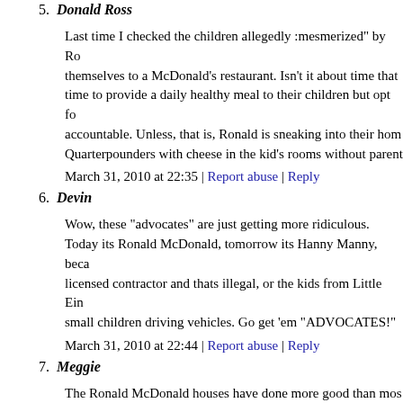5. Donald Ross
Last time I checked the children allegedly :mesmerized" by Ro... themselves to a McDonald's restaurant. Isn't it about time that... time to provide a daily healthy meal to their children but opt fo... accountable. Unless, that is, Ronald is sneaking into their hom... Quarterpounders with cheese in the kid's rooms without parent...
March 31, 2010 at 22:35 | Report abuse | Reply
6. Devin
Wow, these "advocates" are just getting more ridiculous. Today its Ronald McDonald, tomorrow its Hanny Manny, beca... licensed contractor and thats illegal, or the kids from Little Ein... small children driving vehicles. Go get 'em "ADVOCATES!"
March 31, 2010 at 22:44 | Report abuse | Reply
7. Meggie
The Ronald McDonald houses have done more good than mos... even dream of doing. Leave Ronald alone. My kids had meals... They were fit and trim, actually thin, as children and they are f... of meals each month at McDonald's are not going to cause obe...
March 31, 2010 at 23:09 | Report abuse | Reply
8. Karen